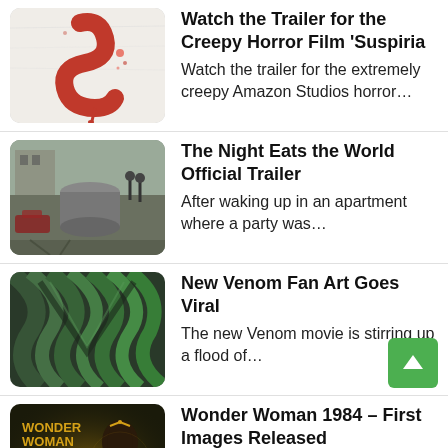Watch the Trailer for the Creepy Horror Film 'Suspiria — Watch the trailer for the extremely creepy Amazon Studios horror...
The Night Eats the World Official Trailer — After waking up in an apartment where a party was...
New Venom Fan Art Goes Viral — The new Venom movie is stirring up a flood of...
Wonder Woman 1984 – First Images Released — Wonder Woman 1984 has begun filming and we have some...
The Final Red Band Trailer for 'The... — 20th Century Fox and director Shane Black (Iron